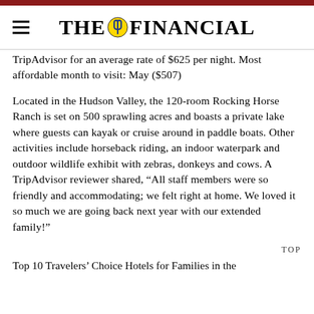THE FINANCIAL
TripAdvisor for an average rate of $625 per night. Most affordable month to visit: May ($507)
Located in the Hudson Valley, the 120-room Rocking Horse Ranch is set on 500 sprawling acres and boasts a private lake where guests can kayak or cruise around in paddle boats. Other activities include horseback riding, an indoor waterpark and outdoor wildlife exhibit with zebras, donkeys and cows. A TripAdvisor reviewer shared, “All staff members were so friendly and accommodating; we felt right at home. We loved it so much we are going back next year with our extended family!”
TOP
Top 10 Travelers’ Choice Hotels for Families in the